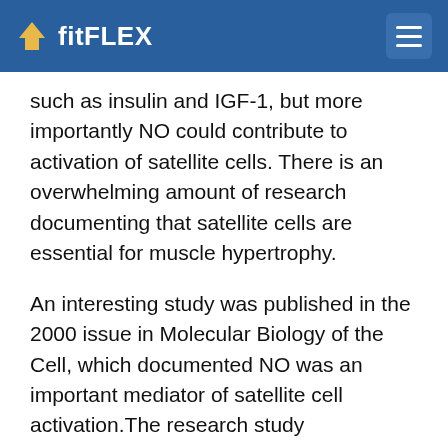fitFLEX
such as insulin and IGF-1, but more importantly NO could contribute to activation of satellite cells. There is an overwhelming amount of research documenting that satellite cells are essential for muscle hypertrophy.
An interesting study was published in the 2000 issue in Molecular Biology of the Cell, which documented NO was an important mediator of satellite cell activation.The research study investigated the impact of NO on satellite cell activation under normal and under conditions in which NO was inhibited by L-NAME (i.e., a NO inhibitor). The study used muscle-induced injury to activate satellite cells and found that the satellite cells were activated by NG. The effects of satellite cells were inhibited by the pharmaco rippe